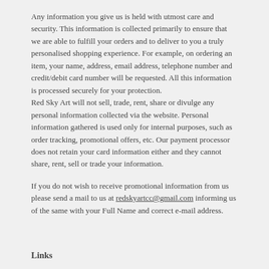Any information you give us is held with utmost care and security. This information is collected primarily to ensure that we are able to fulfill your orders and to deliver to you a truly personalised shopping experience. For example, on ordering an item, your name, address, email address, telephone number and credit/debit card number will be requested. All this information is processed securely for your protection.
Red Sky Art will not sell, trade, rent, share or divulge any personal information collected via the website. Personal information gathered is used only for internal purposes, such as order tracking, promotional offers, etc. Our payment processor does not retain your card information either and they cannot share, rent, sell or trade your information.
If you do not wish to receive promotional information from us please send a mail to us at redskyartcc@gmail.com informing us of the same with your Full Name and correct e-mail address.
Links
Red Sky Art links to affiliate websites. The content and Privacy Policy of